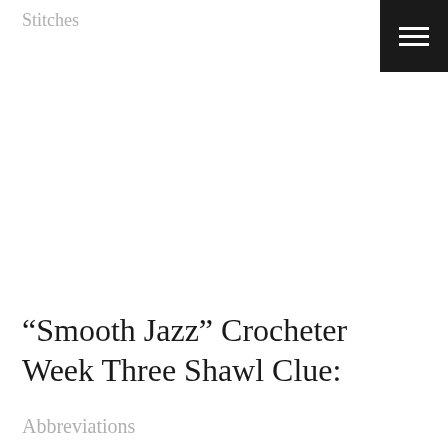Stitches
“Smooth Jazz” Crocheter Week Three Shawl Clue:
Abbreviations